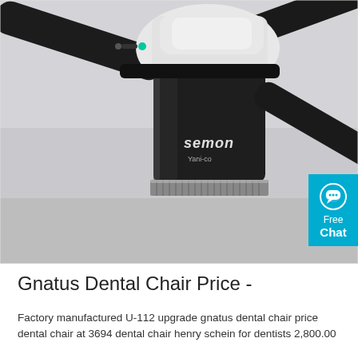[Figure (photo): Close-up photo of a dental chair light/lamp head unit, branded 'semon', with black cylindrical body and a knurled silver ring at the bottom, attached to articulating black arms. Background is light gray. A cyan 'Free Chat' badge with speech bubble icon is visible in the upper right corner.]
Gnatus Dental Chair Price -
Factory manufactured U-112 upgrade gnatus dental chair price dental chair at 3694 dental chair henry schein for dentists 2,800.00